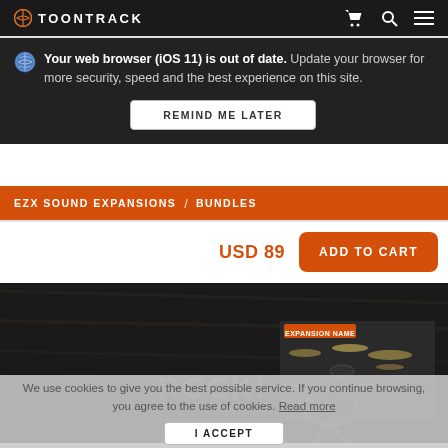TOONTRACK
Your web browser (iOS 11) is out of date. Update your browser for more security, speed and the best experience on this site.
REMIND ME LATER
EZX SOUND EXPANSIONS / BUNDLES
USD 89
ADD TO CART
[Figure (screenshot): Toontrack EZX product page screenshot showing ROCK! drum kit software interface with drum kit image]
We use cookies to give you the best possible service. If you continue browsing, you agree to the use of cookies. Read more
I ACCEPT